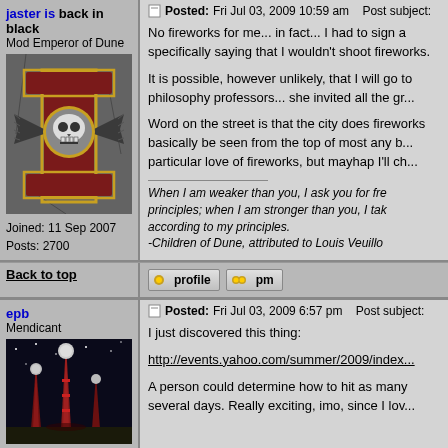jaster is back in black
Mod Emperor of Dune
[Figure (illustration): Warhammer 40k Inquisition symbol with skull on dark stone background]
Joined: 11 Sep 2007
Posts: 2700
Posted: Fri Jul 03, 2009 10:59 am   Post subject:
No fireworks for me... in fact... I had to sign a specifically saying that I wouldn't shoot fireworks.

It is possible, however unlikely, that I will go to philosophy professors... she invited all the gr...

Word on the street is that the city does fireworks basically be seen from the top of most any b... particular love of fireworks, but mayhap I'll ch...
When I am weaker than you, I ask you for fre principles; when I am stronger than you, I tak according to my principles.
-Children of Dune, attributed to Louis Veuillo
Back to top
epb
Mendicant
[Figure (illustration): Science fiction scene with alien towers/spires at night]
Posted: Fri Jul 03, 2009 6:57 pm   Post subject:
I just discovered this thing:

http://events.yahoo.com/summer/2009/index...

A person could determine how to hit as many several days. Really exciting, imo, since I lov...